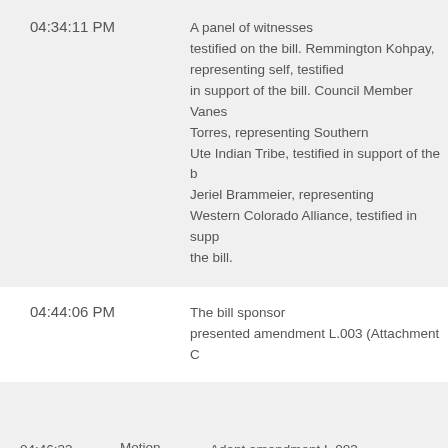| Time | Description |
| --- | --- |
| 04:34:11 PM | A panel of witnesses testified on the bill. Remmington Kohpay, representing self, testified in support of the bill. Council Member Vanessa Torres, representing Southern Ute Indian Tribe, testified in support of the bill. Jeriel Brammeier, representing Western Colorado Alliance, testified in support of the bill. |
| 04:44:06 PM | The bill sponsor presented amendment L.003 (Attachment C) |
| Time | Action | Detail |
| --- | --- | --- |
| 04:46:33 PM | Motion | Adopt amendment L.003 (Attachment C). |
|  | Moved | Bacon |
|  | Seconded | Neville |